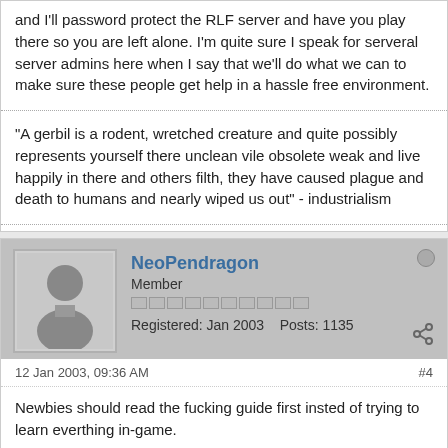and I'll password protect the RLF server and have you play there so you are left alone. I'm quite sure I speak for serveral server admins here when I say that we'll do what we can to make sure these people get help in a hassle free environment.
"A gerbil is a rodent, wretched creature and quite possibly represents yourself there unclean vile obsolete weak and live happily in there and others filth, they have caused plague and death to humans and nearly wiped us out" - industrialism
NeoPendragon
Member
Registered: Jan 2003   Posts: 1135
12 Jan 2003, 09:36 AM
#4
Newbies should read the fucking guide first insted of trying to learn everthing in-game.
(AKA Dresden)
Despite all my rage, I am still just a dwarf in a cage.